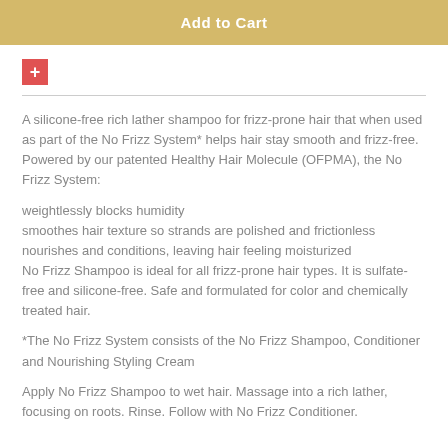[Figure (other): Add to Cart button with golden/tan background]
[Figure (other): Red plus icon button]
A silicone-free rich lather shampoo for frizz-prone hair that when used as part of the No Frizz System* helps hair stay smooth and frizz-free. Powered by our patented Healthy Hair Molecule (OFPMA), the No Frizz System:
weightlessly blocks humidity
smoothes hair texture so strands are polished and frictionless
nourishes and conditions, leaving hair feeling moisturized
No Frizz Shampoo is ideal for all frizz-prone hair types. It is sulfate-free and silicone-free. Safe and formulated for color and chemically treated hair.
*The No Frizz System consists of the No Frizz Shampoo, Conditioner and Nourishing Styling Cream
Apply No Frizz Shampoo to wet hair. Massage into a rich lather, focusing on roots. Rinse. Follow with No Frizz Conditioner.